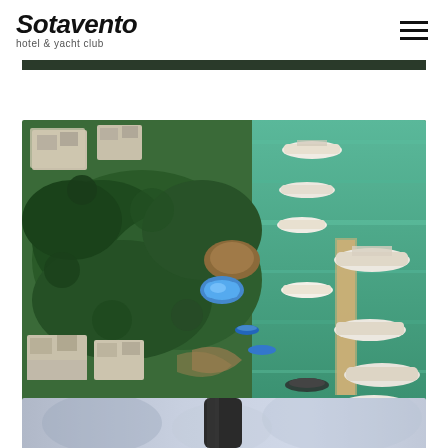Sotavento hotel & yacht club
[Figure (photo): Partial view of a dark banner/image strip at the top of the page]
[Figure (photo): Aerial drone photograph of Sotavento hotel and yacht club showing hotel buildings surrounded by tropical vegetation, a blue swimming pool, and a marina with multiple boats docked in green water]
[Figure (photo): Partial view of a blurred photo at the bottom showing a dark cylindrical object against a blurred background]